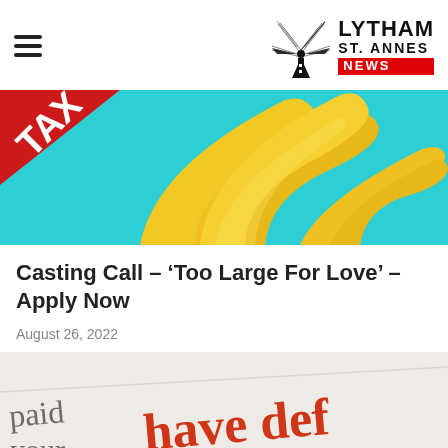≡ LYTHAM ST. ANNES NEWS
[Figure (photo): A bunch of yellow bananas against a teal/cyan background with a red diagonal banner in the top-left corner with white text 'TA' visible]
Casting Call – 'Too Large For Love' – Apply Now
August 26, 2022
[Figure (photo): Close-up of a document with text visible: 'paid your', 'your' in grey/black and 'have def' in red text — appears to be a penalty or debt notice]